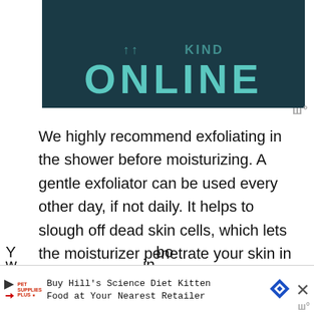[Figure (screenshot): Dark teal banner with large cyan/teal text reading 'ONLINE' with partial text above it cut off]
We highly recommend exfoliating in the shower before moisturizing. A gentle exfoliator can be used every other day, if not daily. It helps to slough off dead skin cells, which lets the moisturizer penetrate your skin in the best possible way.
Is money keeping you from the best morning routines for your skin? Don't let it!
[Figure (screenshot): Advertisement bar: Pet Supplies Plus logo with play triangle icon, text 'Buy Hill's Science Diet Kitten Food at Your Nearest Retailer', blue diamond navigation icon, and X close button]